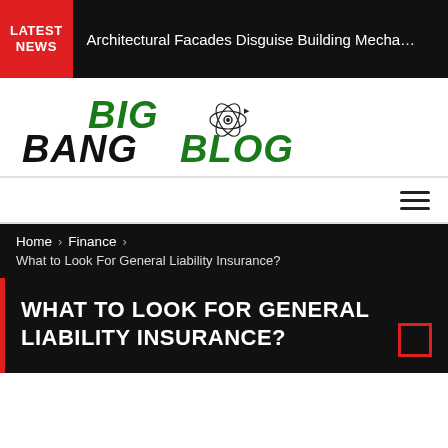LATEST NEWS | Architectural Facades Disguise Building Mecha…
[Figure (logo): Big Bang Blog logo with atom graphic in green and black italic bold text]
Home › Finance › What to Look For General Liability Insurance?
WHAT TO LOOK FOR GENERAL LIABILITY INSURANCE?